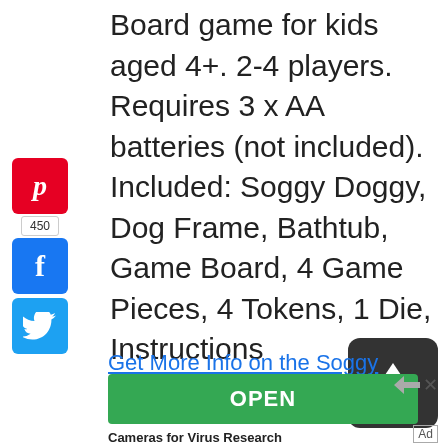Board game for kids aged 4+. 2-4 players. Requires 3 x AA batteries (not included). Included: Soggy Doggy, Dog Frame, Bathtub, Game Board, 4 Game Pieces, 4 Tokens, 1 Die, Instructions
[Figure (other): Pinterest share button with count 450, Facebook share button, Twitter share button - social media sidebar]
[Figure (other): Scroll to top button - dark rounded square with upward arrow]
Get More Info on the Soggy
[Figure (other): Green OPEN button advertisement banner]
Cameras for Virus Research
Ad